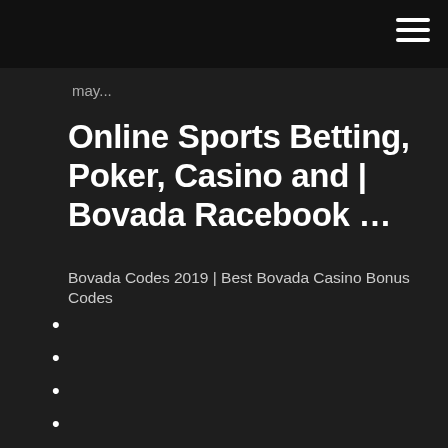may...
Online Sports Betting, Poker, Casino and | Bovada Racebook …
Bovada Codes 2019 | Best Bovada Casino Bonus Codes
French lick casino indiana address
Wild goose chase slot machine